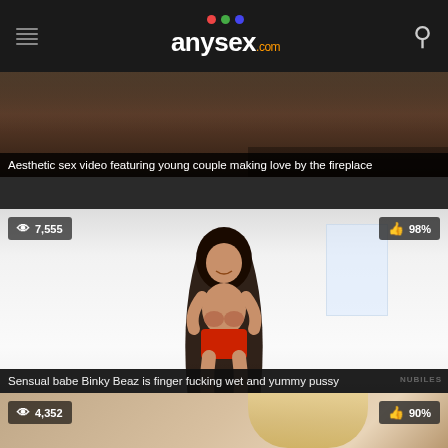anysex.com
[Figure (screenshot): Partial video thumbnail at top — dark romantic scene]
Aesthetic sex video featuring young couple making love by the fireplace
[Figure (screenshot): Video thumbnail showing young woman in red shorts on white bed in bright white room. Stats: 7,555 views, 98% likes.]
Sensual babe Binky Beaz is finger fucking wet and yummy pussy
[Figure (screenshot): Video thumbnail showing couple from behind. Stats: 4,352 views, 90% likes.]